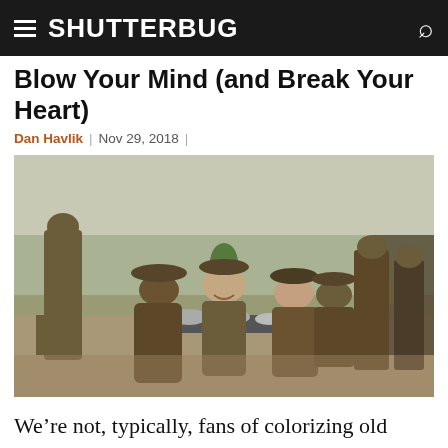SHUTTERBUG
Blow Your Mind (and Break Your Heart)
Dan Havlik | Nov 29, 2018 |
[Figure (photo): Colorized photograph of WWI British soldiers laughing and eating around a small outdoor table, with more soldiers standing in the background on an open field.]
We’re not, typically, fans of colorizing old photographs and film, but an upcoming World War I